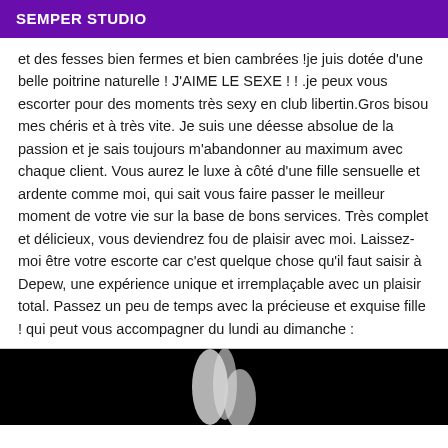SEMPER STUDIO
et des fesses bien fermes et bien cambrées !je juis dotée d'une belle poitrine naturelle ! J'AIME LE SEXE ! ! .je peux vous escorter pour des moments très sexy en club libertin.Gros bisou mes chéris et à très vite. Je suis une déesse absolue de la passion et je sais toujours m'abandonner au maximum avec chaque client. Vous aurez le luxe à côté d'une fille sensuelle et ardente comme moi, qui sait vous faire passer le meilleur moment de votre vie sur la base de bons services. Très complet et délicieux, vous deviendrez fou de plaisir avec moi. Laissez-moi être votre escorte car c'est quelque chose qu'il faut saisir à Depew, une expérience unique et irremplaçable avec un plaisir total. Passez un peu de temps avec la précieuse et exquise fille ! qui peut vous accompagner du lundi au dimanche :
[Figure (photo): Black and white photo showing a partial view of fingers/hand against dark background]